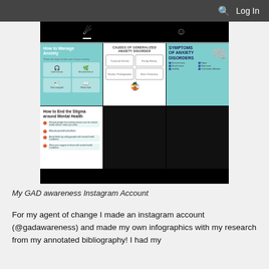Log In
[Figure (screenshot): Instagram profile grid showing 4 posts about anxiety and mental health infographics. Posts include: 'How to Manage Anxiety', 'CAUSES OF GENERALIZED ANXIETY DISORDER', 'SYMPTOMS OF ANXIETY DISORDERS', and 'How to End the Stigma around Mental Health'. Two cells in the bottom right are black/empty.]
My GAD awareness Instagram Account
For my agent of change I made an instagram account (@gadawareness) and made my own infographics with my research from my annotated bibliography! I had my